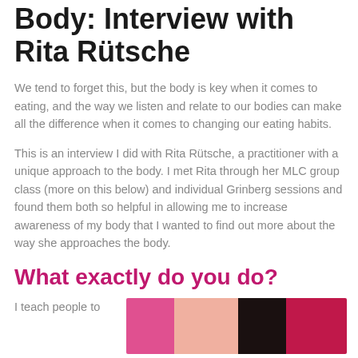Body: Interview with Rita Rütsche
We tend to forget this, but the body is key when it comes to eating, and the way we listen and relate to our bodies can make all the difference when it comes to changing our eating habits.
This is an interview I did with Rita Rütsche, a practitioner with a unique approach to the body. I met Rita through her MLC group class (more on this below) and individual Grinberg sessions and found them both so helpful in allowing me to increase awareness of my body that I wanted to find out more about the way she approaches the body.
What exactly do you do?
I teach people to
[Figure (photo): Photo of Rita Rütsche, showing a person in a colorful setting with pink, peach, and dark tones]